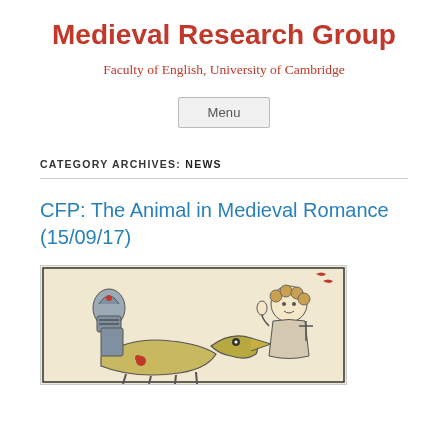Medieval Research Group
Faculty of English, University of Cambridge
Menu
CATEGORY ARCHIVES: NEWS
CFP: The Animal in Medieval Romance (15/09/17)
[Figure (illustration): Medieval manuscript illustration showing a knight in armour on horseback with a bird/creature and a woman figure, drawn in a medieval illuminated manuscript style with ink and colour washes.]